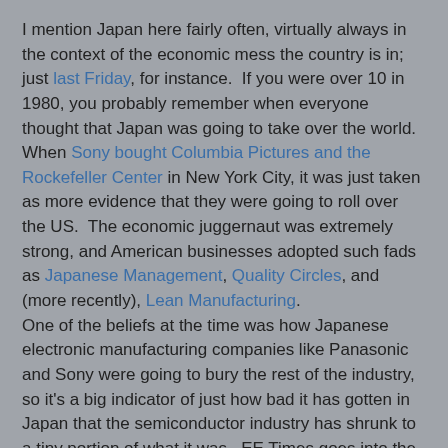I mention Japan here fairly often, virtually always in the context of the economic mess the country is in; just last Friday, for instance.  If you were over 10 in 1980, you probably remember when everyone thought that Japan was going to take over the world.  When Sony bought Columbia Pictures and the Rockefeller Center in New York City, it was just taken as more evidence that they were going to roll over the US.  The economic juggernaut was extremely strong, and American businesses adopted such fads as Japanese Management, Quality Circles, and (more recently), Lean Manufacturing.
One of the beliefs at the time was how Japanese electronic manufacturing companies like Panasonic and Sony were going to bury the rest of the industry, so it's a big indicator of just how bad it has gotten in Japan that the semiconductor industry has shrunk to a tiny portion of what it was.  EE Times goes into the story in "Sayonara Japan Semiconductor, Inc".  They sum it up nicely in this one graphic showing the top 10 semiconductor manufacturing companies in the world by sales.  The ones with a blue